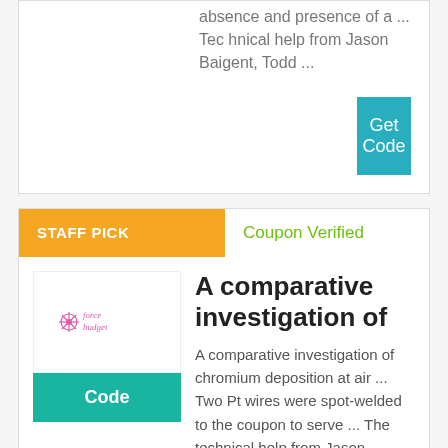absence and presence of a ... Tec hnical help from Jason Baigent, Todd ...
Get Code
STAFF PICK
Coupon Verified
A comparative investigation of
A comparative investigation of chromium deposition at air ... Two Pt wires were spot-welded to the coupon to serve ... The technical help from Jason Baigent, ...
Code
Get Code